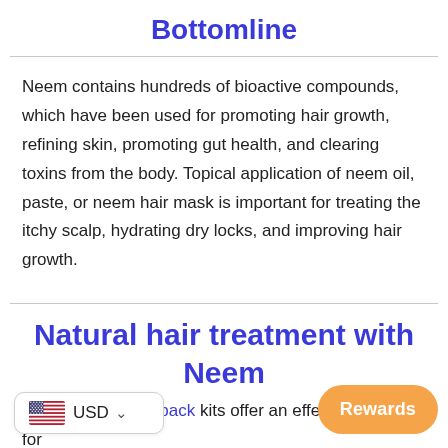Bottomline
Neem contains hundreds of bioactive compounds, which have been used for promoting hair growth, refining skin, promoting gut health, and clearing toxins from the body. Topical application of neem oil, paste, or neem hair mask is important for treating the itchy scalp, hydrating dry locks, and improving hair growth.
Natural hair treatment with Neem
Honeydermʼs Hairback kits offer an effective solution for